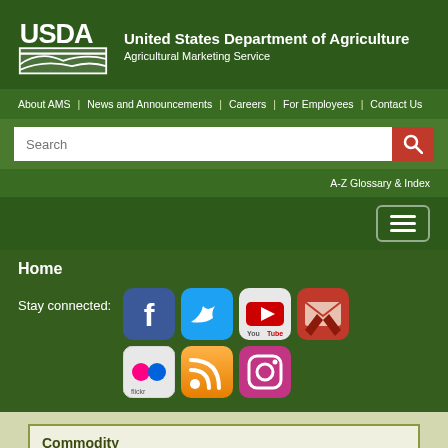[Figure (logo): USDA logo with text 'United States Department of Agriculture, Agricultural Marketing Service']
About AMS | News and Announcements | Careers | For Employees | Contact Us
Search
A-Z Glossary & Index
[Figure (screenshot): Hamburger menu toggle button]
Home
[Figure (infographic): Stay connected: social media icons for Facebook, Twitter, YouTube, Email, Flickr, RSS, Instagram]
Commodity